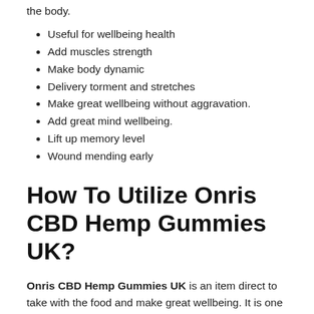the body.
Useful for wellbeing health
Add muscles strength
Make body dynamic
Delivery torment and stretches
Make great wellbeing without aggravation.
Add great mind wellbeing.
Lift up memory level
Wound mending early
How To Utilize Onris CBD Hemp Gummies UK?
Onris CBD Hemp Gummies UK is an item direct to take with the food and make great wellbeing. It is one of the unadulterated items like CBD oil and you can accept it as